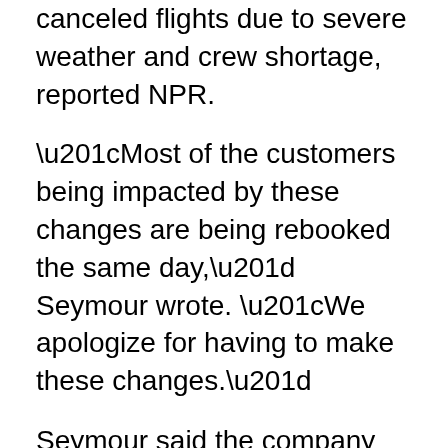canceled flights due to severe weather and crew shortage, reported NPR.
“Most of the customers being impacted by these changes are being rebooked the same day,” Seymour wrote. “We apologize for having to make these changes.”
Seymour said the company plans to hire 600 new flight attendants and will welcome 1,800 more from leave in November.
The cancellations came a week after hundreds of current and former American Airlines employees protested the company’s vaccine mandate outside its headquarters in